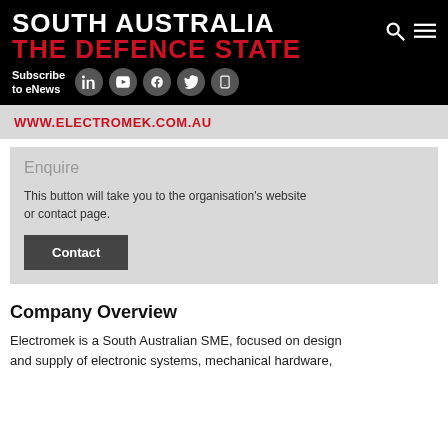SOUTH AUSTRALIA THE DEFENCE STATE
Subscribe to eNews
WWW.ELECTROMEK.COM.AU
Enquire
This button will take you to the organisation's website or contact page.
Contact
Company Overview
Electromek is a South Australian SME, focused on design and supply of electronic systems, mechanical hardware,